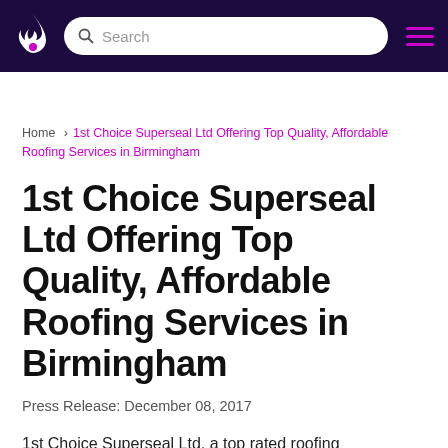Search
Home › 1st Choice Superseal Ltd Offering Top Quality, Affordable Roofing Services in Birmingham
1st Choice Superseal Ltd Offering Top Quality, Affordable Roofing Services in Birmingham
Press Release: December 08, 2017
1st Choice Superseal Ltd, a top rated roofing